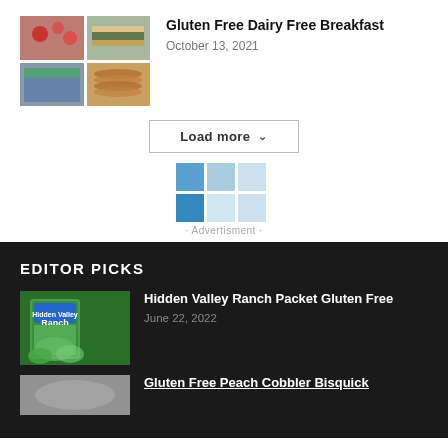[Figure (photo): Collage of food images: berries/strawberries, a sandwich, and stacked pancakes/cookies in a 2x2 grid]
Gluten Free Dairy Free Breakfast
October 13, 2021
Load more ∨
[Figure (infographic): Advertisement block with blue grid squares and 'Advertisment' label]
EDITOR PICKS
[Figure (photo): Hidden Valley Ranch Salad Dressing & Seasoning Mix product box on green background]
Hidden Valley Ranch Packet Gluten Free
June 22, 2022
[Figure (photo): Partially visible food image at the bottom]
Gluten Free Peach Cobbler Bisquick